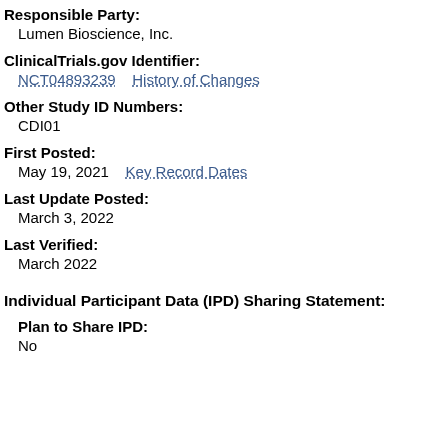Responsible Party:
Lumen Bioscience, Inc.
ClinicalTrials.gov Identifier:
NCT04893239    History of Changes
Other Study ID Numbers:
CDI01
First Posted:
May 19, 2021    Key Record Dates
Last Update Posted:
March 3, 2022
Last Verified:
March 2022
Individual Participant Data (IPD) Sharing Statement:
Plan to Share IPD:
No